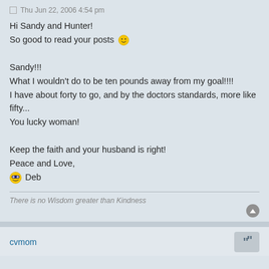Thu Jun 22, 2006 4:54 pm
Hi Sandy and Hunter!
So good to read your posts 😊

Sandy!!!
What I wouldn't do to be ten pounds away from my goal!!!!
I have about forty to go, and by the doctors standards, more like fifty...
You lucky woman!

Keep the faith and your husband is right!
Peace and Love,
😎 Deb
There is no Wisdom greater than Kindness
cvmom
Sun Jun 25, 2006 12:45 am
Hi Deb.